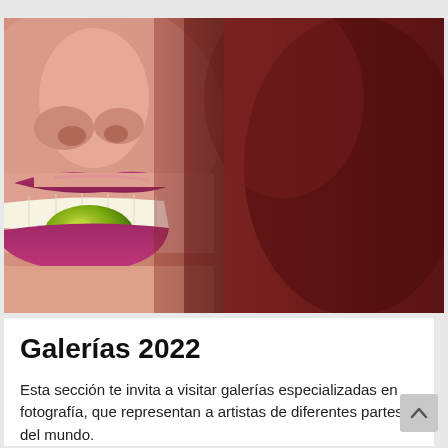[Figure (photo): Close-up photograph of a woman's face (lower half) with pink/magenta lips holding a green olive between her teeth. Right side shows blurred dark red/burgundy background (hair or fabric). Skin tones on the left, dramatic close-up composition.]
Galerías 2022
Esta sección te invita a visitar galerías especializadas en fotografía, que representan a artistas de diferentes partes del mundo.